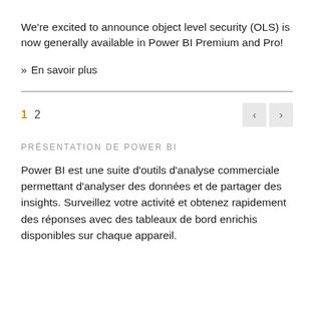We're excited to announce object level security (OLS) is now generally available in Power BI Premium and Pro!
» En savoir plus
1  2
PRÉSENTATION DE POWER BI
Power BI est une suite d'outils d'analyse commerciale permettant d'analyser des données et de partager des insights. Surveillez votre activité et obtenez rapidement des réponses avec des tableaux de bord enrichis disponibles sur chaque appareil.